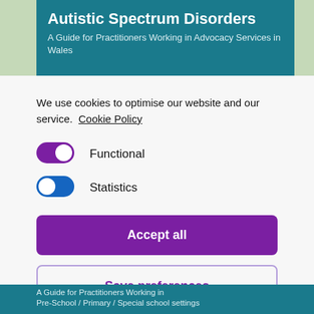Autistic Spectrum Disorders – A Guide for Practitioners Working in Advocacy Services in Wales
We use cookies to optimise our website and our service.  Cookie Policy
Functional (toggle on)
Statistics (toggle on)
Accept all
Save preferences
A Guide for Practitioners Working in Pre-School / Primary / Special school settings